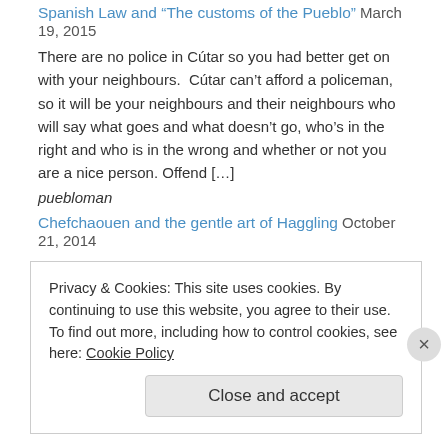Spanish Law and "The customs of the Pueblo" March 19, 2015
There are no police in Cútar so you had better get on with your neighbours.  Cútar can't afford a policeman, so it will be your neighbours and their neighbours who will say what goes and what doesn't go, who's in the right and who is in the wrong and whether or not you are a nice person. Offend […]
puebloman
Chefchaouen and the gentle art of Haggling October 21, 2014
When I was very young and lived in Portsmouth, me and mum would go to Charlotte Street market when she wasn't at work or being a post-war housewife, and insult the market traders. She took me to the market to show me what would happen to me if I didn't work hard at school. Mum […]
Privacy & Cookies: This site uses cookies. By continuing to use this website, you agree to their use.
To find out more, including how to control cookies, see here: Cookie Policy
Close and accept